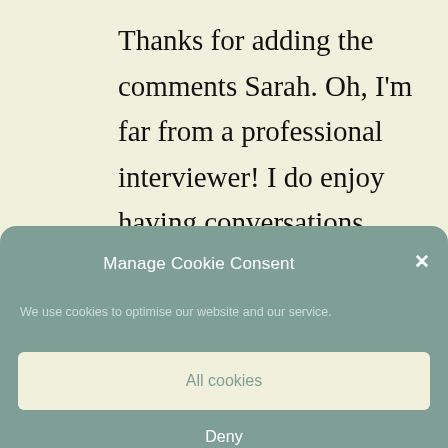Thanks for adding the comments Sarah. Oh, I'm far from a professional interviewer! I do enjoy having conversations with our guests, so I guess that helps, since I always want to find out more from them.
Manage Cookie Consent
We use cookies to optimise our website and our service.
All cookies
Deny